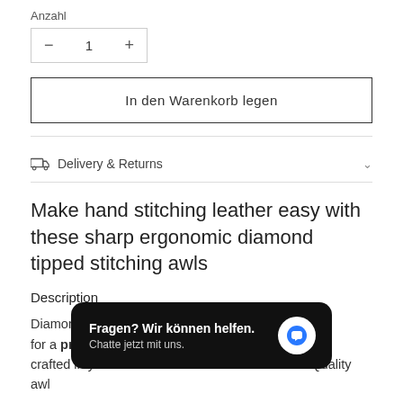Anzahl
— 1 +
In den Warenkorb legen
Delivery & Returns
Make hand stitching leather easy with these sharp ergonomic diamond tipped stitching awls
Description
Diamond tipped [obscured] ed and polished for a professional [obscured] omic handles crafted in your choice of Beech or Walnut wood. Quality awl
[Figure (screenshot): Chat widget overlay with black rounded rectangle background. Text: 'Fragen? Wir können helfen.' and 'Chatte jetzt mit uns.' with a white circular chat bubble icon on the right.]